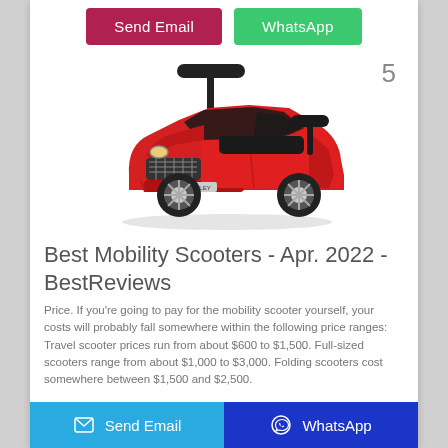[Figure (screenshot): Top button bar with 'Send Email' (dark red/crimson) and 'WhatsApp' (green) buttons]
5
[Figure (photo): Red toy ride-on car styled like a Bentley, with black seat and push handle, chrome wheels, facing forward-left]
Best Mobility Scooters - Apr. 2022 - BestReviews
Price. If you're going to pay for the mobility scooter yourself, your costs will probably fall somewhere within the following price ranges: Travel scooter prices run from about $600 to $1,500. Full-sized scooters range from about $1,000 to $3,000. Folding scooters cost somewhere between $1,500 and $2,500.
Send Email   WhatsApp